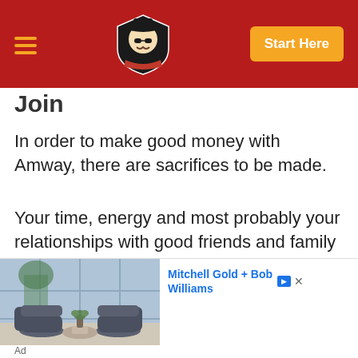Navigation bar with hamburger menu, logo, and Start Here button
Join
In order to make good money with Amway, there are sacrifices to be made.
Your time, energy and most probably your relationships with good friends and family could be sacrificed.
Unless your friends and family understands what you are doing and supports you, you
[Figure (photo): Advertisement showing a modern living room with stylish chairs and coffee table]
Mitchell Gold + Bob Williams
Ad